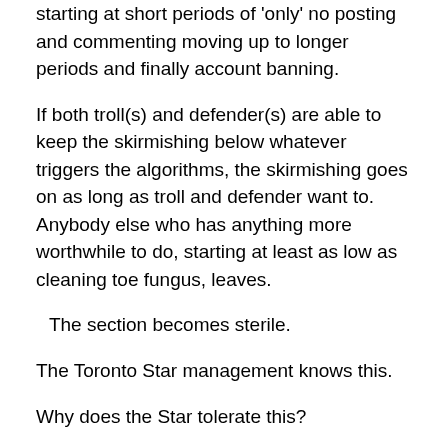starting at short periods of 'only' no posting and commenting moving up to longer periods and finally account banning.
If both troll(s) and defender(s) are able to keep the skirmishing below whatever triggers the algorithms, the skirmishing goes on as long as troll and defender want to. Anybody else who has anything more worthwhile to do, starting at least as low as cleaning toe fungus, leaves.
The section becomes sterile.
The Toronto Star management knows this.
Why does the Star tolerate this?
Because, in theory and practice it has no choice as regards the situation on the FB platform. The FB platform is governed by US law. The content of the Star's articles;